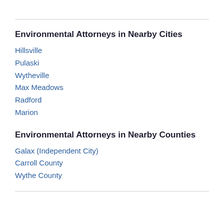Environmental Attorneys in Nearby Cities
Hillsville
Pulaski
Wytheville
Max Meadows
Radford
Marion
Environmental Attorneys in Nearby Counties
Galax (Independent City)
Carroll County
Wythe County